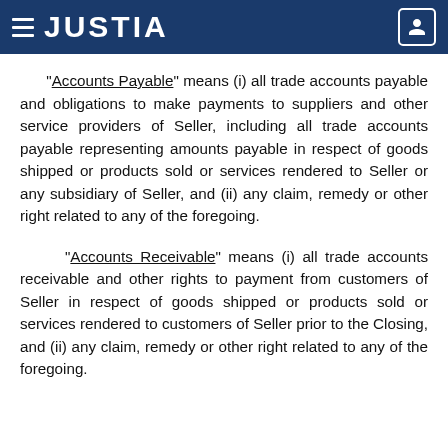JUSTIA
“Accounts Payable” means (i) all trade accounts payable and obligations to make payments to suppliers and other service providers of Seller, including all trade accounts payable representing amounts payable in respect of goods shipped or products sold or services rendered to Seller or any subsidiary of Seller, and (ii) any claim, remedy or other right related to any of the foregoing.
“Accounts Receivable” means (i) all trade accounts receivable and other rights to payment from customers of Seller in respect of goods shipped or products sold or services rendered to customers of Seller prior to the Closing, and (ii) any claim, remedy or other right related to any of the foregoing.